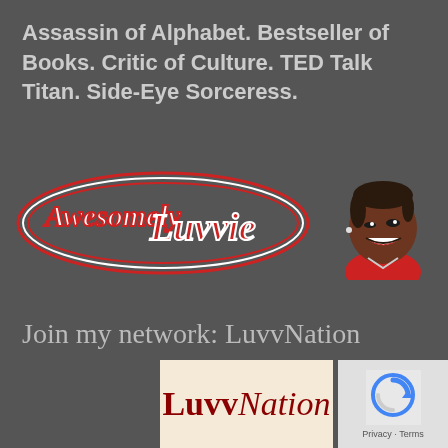Assassin of Alphabet. Bestseller of Books. Critic of Culture. TED Talk Titan. Side-Eye Sorceress.
[Figure (logo): AwesomelyLuvvie cursive red and white logo with illustrated smiling Black woman face to the right]
Join my network: LuvvNation
[Figure (logo): LuvvNation banner on cream/beige background with bold dark red text]
[Figure (other): Google reCAPTCHA widget with Privacy and Terms text]